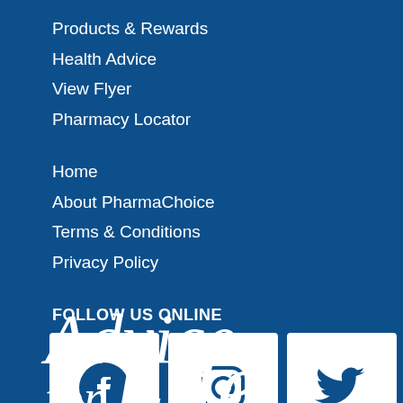Products & Rewards
Health Advice
View Flyer
Pharmacy Locator
Home
About PharmaChoice
Terms & Conditions
Privacy Policy
FOLLOW US ONLINE
[Figure (logo): Three social media icon boxes: Facebook (circle f), Instagram (camera), Twitter (bird)]
[Figure (logo): Advice for Life script logo in white italic text]